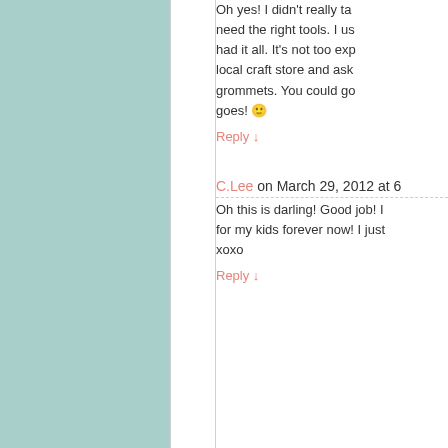Oh yes! I didn't really ta... need the right tools. I us... had it all. It's not too exp... local craft store and ask... grommets. You could go... goes! 🙂
Reply ↓
C.Lee on March 29, 2012 at 6...
Oh this is darling! Good job! I... for my kids forever now! I just... xoxo
Reply ↓
The Paper Mama on Ma...
It was surprisingly easy.
Reply ↓